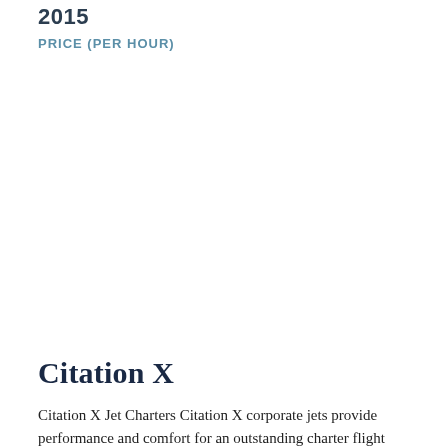2015
PRICE (PER HOUR)
Citation X
Citation X Jet Charters Citation X corporate jets provide performance and comfort for an outstanding charter flight experience.